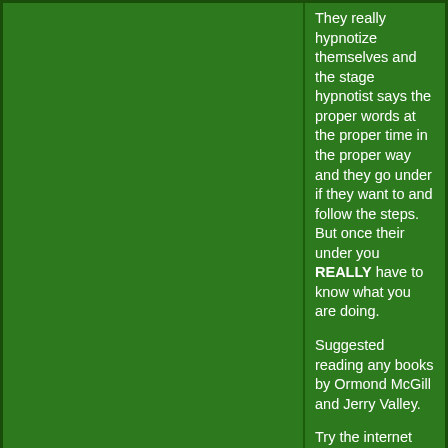They really hypnotize themselves and the stage hypnotist says the proper words at the proper time in the proper way and they go under if they want to and follow the steps. But once their under you REALLY have to know what you are doing.

Suggested reading any books by Ormond McGill and Jerry Valley.

Try the internet book stores. Good luck!
Glenn Bishop Cardician
Producer of the DVD Punch Deal Pro
Publisher of Glenn Bishop's Ace Cutting And Block Transfer Triumphs
Dannydoyle
[Figure (illustration): Silhouette of a rabbit in a magician's top hat, black on green background]
Eternal Order
20878 Posts
profile
Posted: Feb 10, 2006 10:12 pm    like 0
I would like to clarify that no professional hypnotist should use stooges.

This is the exact reason for my emergency show.

If you can't do the show as advertised,